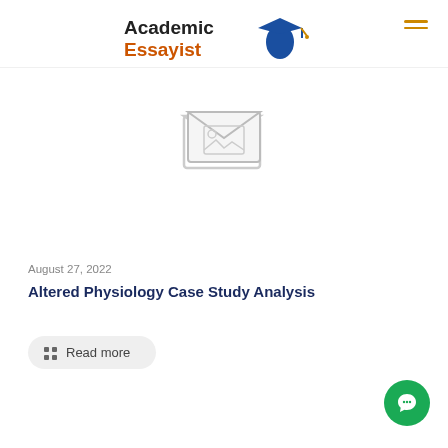Academic Essayist
[Figure (illustration): Placeholder image icon showing an envelope/image placeholder in light gray]
August 27, 2022
Altered Physiology Case Study Analysis
Read more